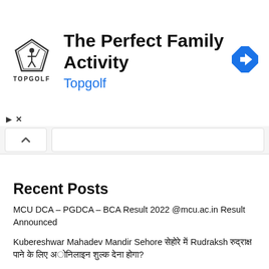[Figure (other): Topgolf advertisement banner with logo, title 'The Perfect Family Activity', subtitle 'Topgolf', and navigation icon]
Recent Posts
MCU DCA – PGDCA – BCA Result 2022 @mcu.ac.in Result Announced
Kubereshwar Mahadev Mandir Sehore [Hindi] Rudraksh [Hindi text] ?
Mp Vanrakshak Job Details 2022 – Exam Date Arrived ([Hindi] Forest Guard Syllabus)
GMC Shahdol Hospital Manager, Assistant Manager, Engineer Job Details 2022 – Age Limit, Fees, Salary, Last Date